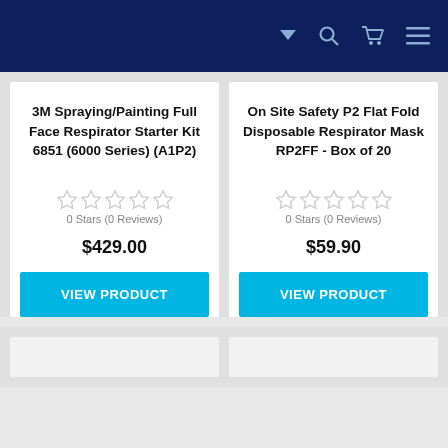Navigation bar with search, cart, and menu icons
3M Spraying/Painting Full Face Respirator Starter Kit 6851 (6000 Series) (A1P2)
0 Stars (0 Reviews)
$429.00
VIEW PRODUCT
On Site Safety P2 Flat Fold Disposable Respirator Mask RP2FF - Box of 20
0 Stars (0 Reviews)
$59.90
VIEW PRODUCT